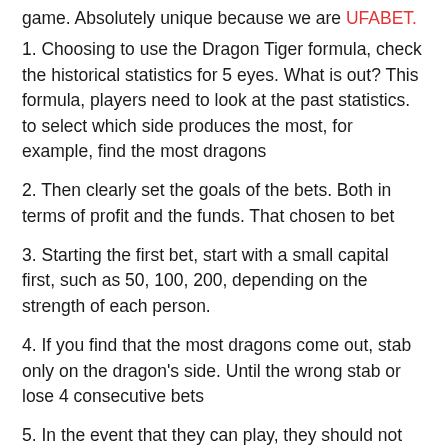game. Absolutely unique because we are UFABET.
1. Choosing to use the Dragon Tiger formula, check the historical statistics for 5 eyes. What is out? This formula, players need to look at the past statistics. to select which side produces the most, for example, find the most dragons
2. Then clearly set the goals of the bets. Both in terms of profit and the funds. That chosen to bet
3. Starting the first bet, start with a small capital first, such as 50, 100, 200, depending on the strength of each person.
4. If you find that the most dragons come out, stab only on the dragon's side. Until the wrong stab or lose 4 consecutive bets
5. In the event that they can play, they should not roll over. Should choose the same betting formula every time. Whether it can be play or lost to reduce the risk and clearly define the funds every time you play.